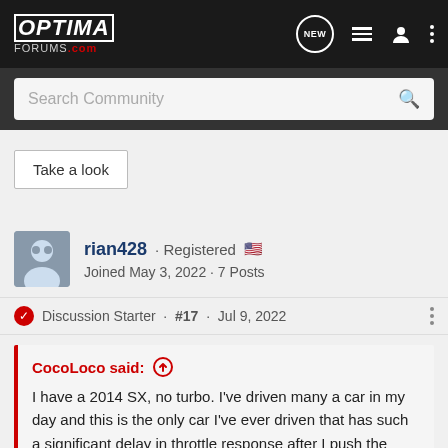OPTIMA FORUMS.com
Search Community
Take a look
rian428 · Registered
Joined May 3, 2022 · 7 Posts
Discussion Starter · #17 · Jul 9, 2022
CocoLoco said:
I have a 2014 SX, no turbo. I've driven many a car in my day and this is the only car I've ever driven that has such a significant delay in throttle response after I push the pedal. It's one of the only things I don't like about my car. I asked my local Kia dealer about it after I first